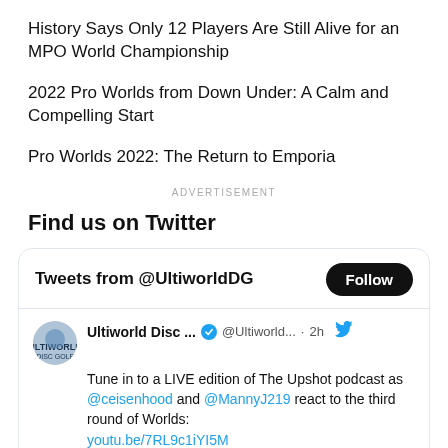History Says Only 12 Players Are Still Alive for an MPO World Championship
2022 Pro Worlds from Down Under: A Calm and Compelling Start
Pro Worlds 2022: The Return to Emporia
ADVERTISEMENT
Find us on Twitter
[Figure (screenshot): Twitter widget showing Tweets from @UltiworldDG with a Follow button. A tweet from Ultiworld Disc Golf (@Ultiworld...) posted 2h ago reads: Tune in to a LIVE edition of The Upshot podcast as @ceisenhood and @MannyJ219 react to the third round of Worlds: youtu.be/7RL9c1iYI5M]